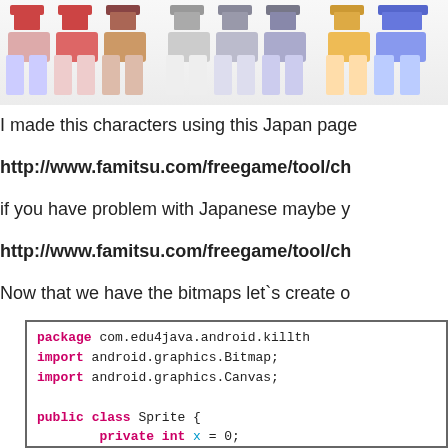[Figure (illustration): Pixel art sprite characters in rows, partially visible at top of page, cropped on right side]
I made this characters using this Japan page
http://www.famitsu.com/freegame/tool/ch
if you have problem with Japanese maybe y
http://www.famitsu.com/freegame/tool/ch
Now that we have the bitmaps let`s create o
package com.edu4java.android.killth
import android.graphics.Bitmap;
import android.graphics.Canvas;

public class Sprite {
        private int x = 0;
        private int xSpeed = 5;
        private GameView gameView;
        private Bitmap bmp;

        public Sprite(GameView gameV
                this.gameView=gameView
                this.bmp=bmp;
        }

        private void update() {
                if (x > gameView.getWi